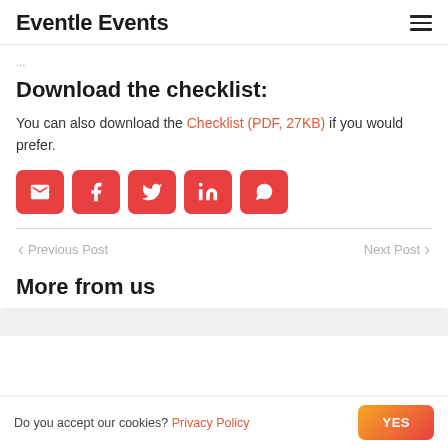Eventle Events
...
Download the checklist:
You can also download the Checklist (PDF, 27KB) if you would prefer.
[Figure (infographic): Row of 5 red rounded-square social share buttons: email, Facebook, Twitter, LinkedIn, WhatsApp]
Previous Post
Next Post
More from us
Do you accept our cookies? Privacy Policy  YES